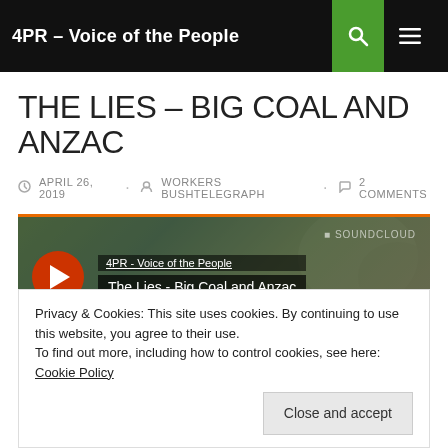4PR – Voice of the People
THE LIES – BIG COAL AND ANZAC
APRIL 26, 2019  WORKERS BUSHTELEGRAPH  2 COMMENTS
[Figure (screenshot): Embedded audio player showing '4PR - Voice of the People' channel and track 'The Lies - Big Coal and Anzac' with play button and Share option on a landscape background]
Privacy & Cookies: This site uses cookies. By continuing to use this website, you agree to their use.
To find out more, including how to control cookies, see here: Cookie Policy
Close and accept